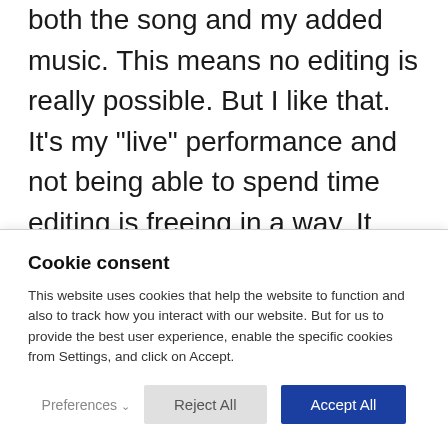both the song and my added music. This means no editing is really possible. But I like that. It's my "live" performance and not being able to spend time editing is freeing in a way. It allows me to jump in, complete a recording, and move on.

It's a great hobby. Great for teaching myself music theory and great for breathing some fresh
Cookie consent
This website uses cookies that help the website to function and also to track how you interact with our website. But for us to provide the best user experience, enable the specific cookies from Settings, and click on Accept.
Preferences | Reject All | Accept All